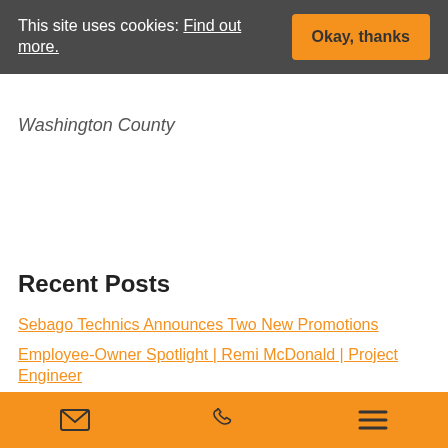This site uses cookies: Find out more. [Okay, thanks button]
Washington County
Recent Posts
Sebago Technics Announces Two New Promotions
Employee-Owner Spotlight | Remi McDonald | Project Engineer
Employee-Owner Spotlight | Michelle Erskine | Administrative Assistant
Employee-Owner Spotlight | Abram Bartlett | CAD
[email icon] [phone icon] [menu icon]